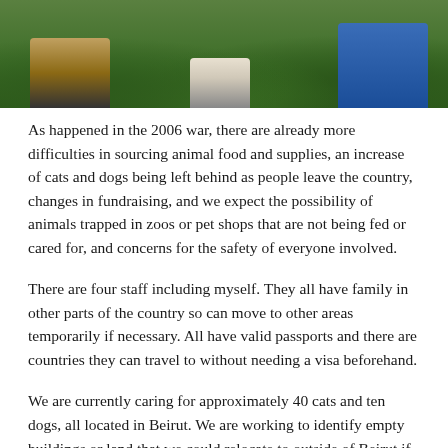[Figure (photo): Photograph showing people on grass, cropped at top of page. Visible from waist/knees down, sitting or crouching on green grass.]
As happened in the 2006 war, there are already more difficulties in sourcing animal food and supplies, an increase of cats and dogs being left behind as people leave the country, changes in fundraising, and we expect the possibility of animals trapped in zoos or pet shops that are not being fed or cared for, and concerns for the safety of everyone involved.
There are four staff including myself. They all have family in other parts of the country so can move to other areas temporarily if necessary. All have valid passports and there are countries they can travel to without needing a visa beforehand.
We are currently caring for approximately 40 cats and ten dogs, all located in Beirut. We are working to identify empty buildings or land that we could relocate to outside of Beirut if necessary.